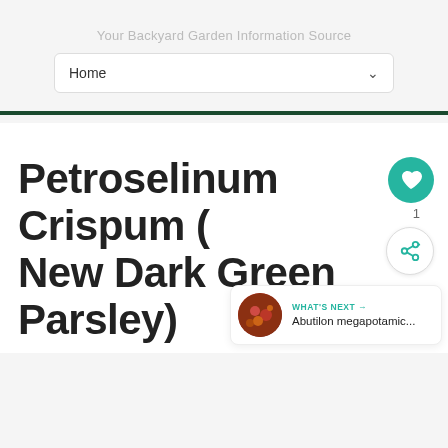Your Backyard Garden Information Source
Home
Petroselinum Crispum (New Dark Green Parsley)
1
WHAT'S NEXT → Abutilon megapotamic...